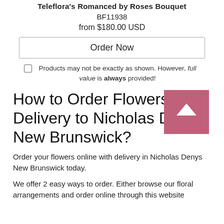Teleflora's Romanced by Roses Bouquet
BF11938
from $180.00 USD
Order Now
Products may not be exactly as shown. However, full value is always provided!
How to Order Flowers for Delivery to Nicholas Denys, New Brunswick?
Order your flowers online with delivery in Nicholas Denys New Brunswick today.
We offer 2 easy ways to order. Either browse our floral arrangements and order online through this website